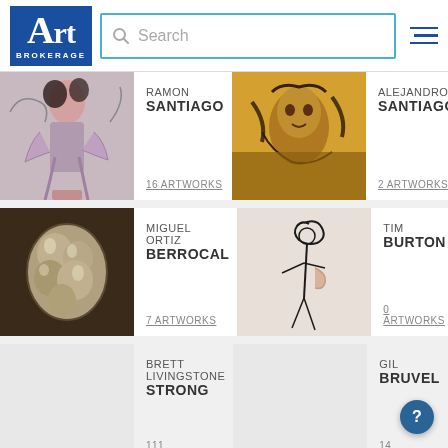[Figure (screenshot): Art Brokerage website header with logo, search bar, and hamburger menu]
RAMON SANTIAGO
16 ARTWORKS
[Figure (photo): Artwork thumbnail for Ramon Santiago - figurative woman with swirling elements]
ALEJANDRO SANTIAGO
2 ARTWORKS
[Figure (photo): Artwork thumbnail for Alejandro Santiago - expressive portrait in warm colors]
MIGUEL ORTIZ BERROCAL
7 ARTWORKS
[Figure (photo): Artwork thumbnail for Miguel Ortiz Berrocal - metallic sculptural figure]
TIM BURTON
0 ARTWORKS
[Figure (photo): Artwork thumbnail for Tim Burton - whimsical line drawing figure]
BRETT LIVINGSTONE STRONG
111 ARTWORKS
GIL BRUVEL
14 ARTWORKS